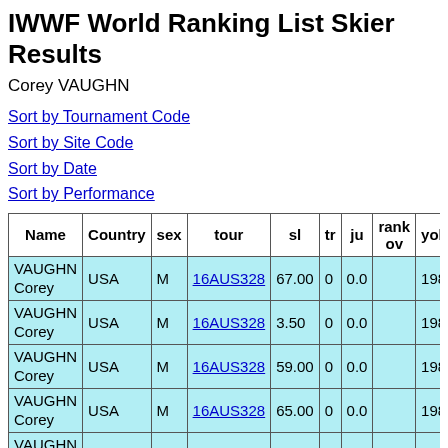IWWF World Ranking List Skier Results
Corey VAUGHN
Sort by Tournament Code
Sort by Site Code
Sort by Date
Sort by Performance
| Name | Country | sex | tour | sl | tr | ju | rank ov | yob |
| --- | --- | --- | --- | --- | --- | --- | --- | --- |
| VAUGHN Corey | USA | M | 16AUS328 | 67.00 | 0 | 0.0 |  | 198 |
| VAUGHN Corey | USA | M | 16AUS328 | 3.50 | 0 | 0.0 |  | 198 |
| VAUGHN Corey | USA | M | 16AUS328 | 59.00 | 0 | 0.0 |  | 198 |
| VAUGHN Corey | USA | M | 16AUS328 | 65.00 | 0 | 0.0 |  | 198 |
| VAUGHN Corey | USA | M | 16AUS328 | 61.50 | 0 | 0.0 |  | 198 |
| VAUGHN | USA | M | 18AUS316 | 64.00 | 0 | 0.0 |  | 198 |